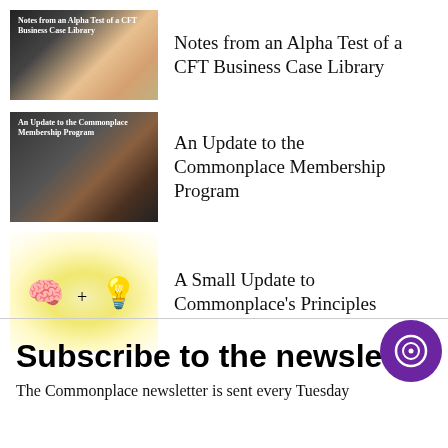[Figure (photo): Thumbnail image for article 'Notes from an Alpha Test of a CFT Business Case Library' — colorful craft supplies/books on a dark background with white bold text overlay]
Notes from an Alpha Test of a CFT Business Case Library
[Figure (photo): Thumbnail image for article 'An Update to the Commonplace Membership Program' — dark moody photo of a person or animal in smoke/shadow with white bold text overlay]
An Update to the Commonplace Membership Program
[Figure (illustration): Illustration of a brain emoji and a lightbulb emoji with a plus sign between them, on a yellow glowing background]
A Small Update to Commonplace's Principles
Subscribe to the newsletter
The Commonplace newsletter is sent every Tuesday